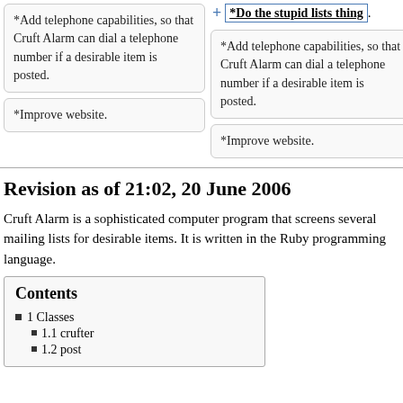*Do the stupid lists thing.
*Add telephone capabilities, so that Cruft Alarm can dial a telephone number if a desirable item is posted.
*Add telephone capabilities, so that Cruft Alarm can dial a telephone number if a desirable item is posted.
*Improve website.
*Improve website.
Revision as of 21:02, 20 June 2006
Cruft Alarm is a sophisticated computer program that screens several mailing lists for desirable items. It is written in the Ruby programming language.
Contents
1 Classes
1.1 crufter
1.2 post